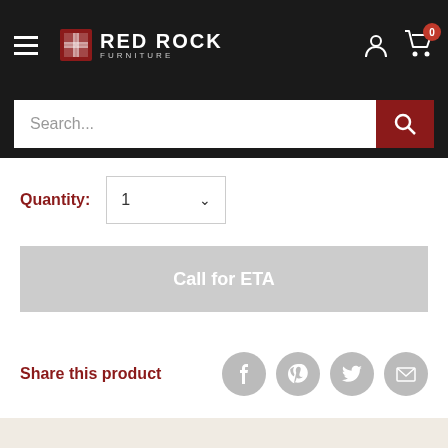Red Rock Furniture
Search...
Quantity: 1
Call for ETA
Share this product
Description
Embrace an executive look and feel. This elegant office chair puts a